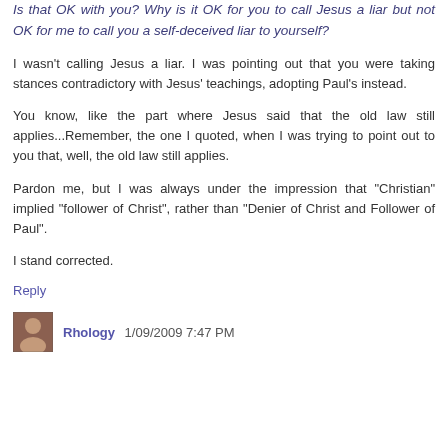Is that OK with you? Why is it OK for you to call Jesus a liar but not OK for me to call you a self-deceived liar to yourself?
I wasn't calling Jesus a liar. I was pointing out that you were taking stances contradictory with Jesus' teachings, adopting Paul's instead.
You know, like the part where Jesus said that the old law still applies...Remember, the one I quoted, when I was trying to point out to you that, well, the old law still applies.
Pardon me, but I was always under the impression that "Christian" implied "follower of Christ", rather than "Denier of Christ and Follower of Paul".
I stand corrected.
Reply
Rhology 1/09/2009 7:47 PM